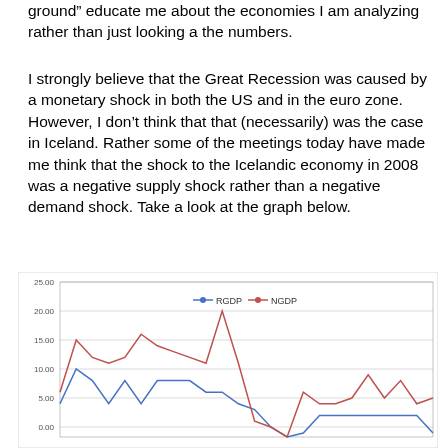ground” educate me about the economies I am analyzing rather than just looking a the numbers.
I strongly believe that the Great Recession was caused by a monetary shock in both the US and in the euro zone. However, I don’t think that that (necessarily) was the case in Iceland. Rather some of the meetings today have made me think that the shock to the Icelandic economy in 2008 was a negative supply shock rather than a negative demand shock. Take a look at the graph below.
[Figure (line-chart): ]